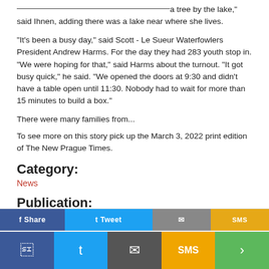a tree by the lake," said Ihnen, adding there was a lake near where she lives.
"It's been a busy day," said Scott - Le Sueur Waterfowlers President Andrew Harms. For the day they had 283 youth stop in. "We were hoping for that," said Harms about the turnout. "It got busy quick," he said. "We opened the doors at 9:30 and didn't have a table open until 11:30. Nobody had to wait for more than 15 minutes to build a box."
There were many families from...
To see more on this story pick up the March 3, 2022 print edition of The New Prague Times.
Category:
News
Publication:
New Prague Times